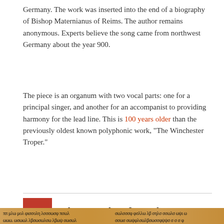Germany. The work was inserted into the end of a biography of Bishop Maternianus of Reims. The author remains anonymous. Experts believe the song came from northwest Germany about the year 900.
The piece is an organum with two vocal parts: one for a principal singer, and another for an accompanist to providing harmony for the lead line. This is 100 years older than the previously oldest known polyphonic work, “The Winchester Troper.”
5 The Book Of Psalms
[Figure (photo): Photograph of an ancient manuscript page with handwritten text in two columns, showing old script on aged parchment with a faded lower portion.]